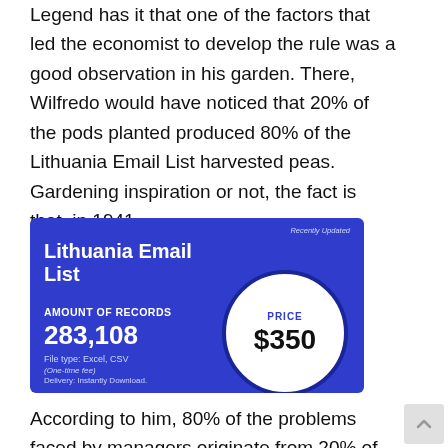Legend has it that one of the factors that led the economist to develop the rule was a good observation in his garden. There, Wilfredo would have noticed that 20% of the pods planted produced 80% of the Lithuania Email List harvested peas. Gardening inspiration or not, the fact is that, in 1941,
[Figure (infographic): Blue promotional banner for Lithuania Email List. Shows 'Recently Updated' label, title 'Lithuania Email List', 'AMOUNT OF RECORDS 283,108', 'File type: Excel, CSV', '(One-time fee)', 'Delivery: Instantly Download.', and a white circle with 'PRICE $350'.]
According to him, 80% of the problems faced by managers originate from 20% of the